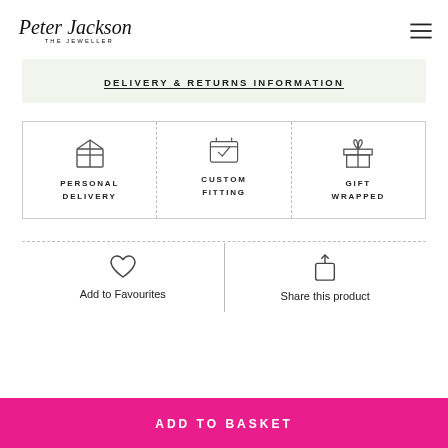Peter Jackson The Jeweller
DELIVERY & RETURNS INFORMATION
[Figure (infographic): Three service icons: Personal Delivery (box icon), Custom Fitting (checkbox icon), Gift Wrapped (gift icon)]
Add to Favourites
Share this product
ADD TO BASKET